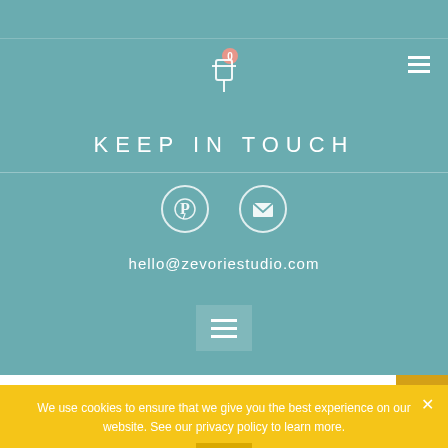KEEP IN TOUCH
hello@zevoriestudio.com
Search...
We use cookies to ensure that we give you the best experience on our website. See our privacy policy to learn more.
OK